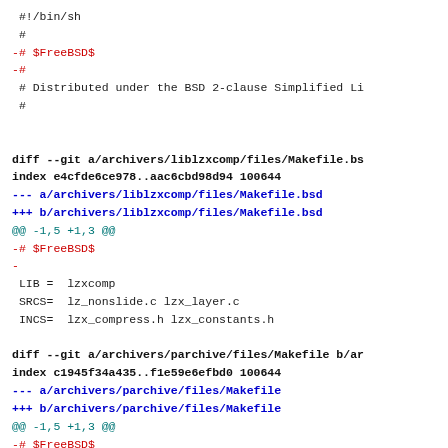#!/bin/sh
 #
-# $FreeBSD$
-#
 # Distributed under the BSD 2-clause Simplified Li
 #
diff --git a/archivers/liblzxcomp/files/Makefile.bs
index e4cfde6ce978..aac6cbd98d94 100644
--- a/archivers/liblzxcomp/files/Makefile.bsd
+++ b/archivers/liblzxcomp/files/Makefile.bsd
@@ -1,5 +1,3 @@
-# $FreeBSD$
-
 LIB =  lzxcomp
 SRCS=  lz_nonslide.c lzx_layer.c
 INCS=  lzx_compress.h lzx_constants.h
diff --git a/archivers/parchive/files/Makefile b/ar
index c1945f34a435..f1e59e6efbd0 100644
--- a/archivers/parchive/files/Makefile
+++ b/archivers/parchive/files/Makefile
@@ -1,5 +1,3 @@
-# $FreeBSD$
-
 PREFIX?=/usr/local
 BINDIR=         ${PREFIX}/bin
 PROG=  parchive
diff --git a/archivers/.../Makefile ...